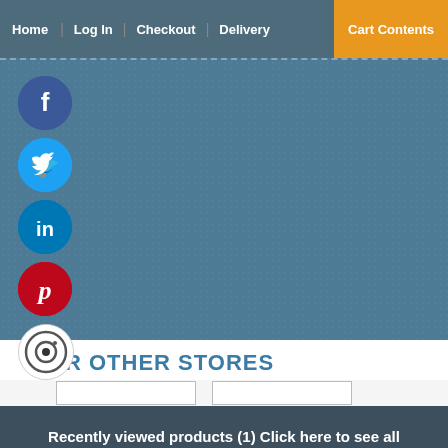Home | Log In | Checkout | Delivery | Cart Contents
[Figure (screenshot): Blue textured background area with social media icons (Facebook, Twitter, LinkedIn, Pinterest, Instagram) arranged vertically on the left side]
OUR OTHER STORES
[Figure (screenshot): Two white rectangular store placeholder boxes side by side]
Recently viewed products (1) Click here to see all recently viewed products